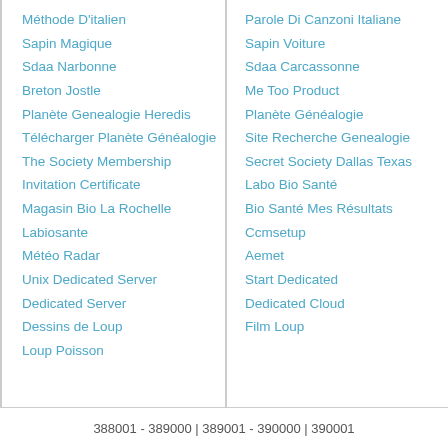Méthode D'italien
Sapin Magique
Sdaa Narbonne
Breton Jostle
Planète Genealogie Heredis
Télécharger Planète Généalogie
The Society Membership Invitation Certificate
Magasin Bio La Rochelle
Labiosante
Météo Radar
Unix Dedicated Server
Dedicated Server
Dessins de Loup
Loup Poisson
Parole Di Canzoni Italiane
Sapin Voiture
Sdaa Carcassonne
Me Too Product
Planète Généalogie
Site Recherche Genealogie
Secret Society Dallas Texas
Labo Bio Santé
Bio Santé Mes Résultats
Ccmsetup
Aemet
Start Dedicated
Dedicated Cloud
Film Loup
388001 - 389000 | 389001 - 390000 | 390001